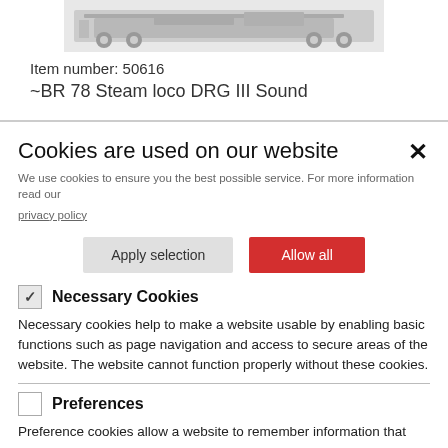[Figure (photo): Partial view of a steam locomotive model product image, showing a black and white illustration of a train.]
Item number: 50616
~BR 78 Steam loco DRG III Sound
Cookies are used on our website
We use cookies to ensure you the best possible service. For more information read our privacy policy
Apply selection
Allow all
Necessary Cookies
Necessary cookies help to make a website usable by enabling basic functions such as page navigation and access to secure areas of the website. The website cannot function properly without these cookies.
Preferences
Preference cookies allow a website to remember information that affects the way a website behaves or looks, such as your